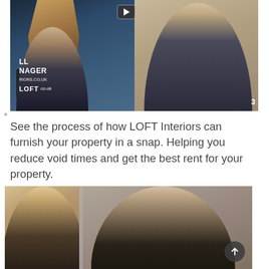[Figure (screenshot): Video thumbnail showing two people on phones — woman with long blonde hair on left, man in grey suit with pink tie on right — with LOFT Interiors branding overlay and a play button at top center]
See the process of how LOFT Interiors can furnish your property in a snap. Helping you reduce void times and get the best rent for your property.
[Figure (screenshot): Video thumbnail showing two people — blonde woman on left, dark-haired man in suit on right — with a scroll-to-top button in the bottom right corner]